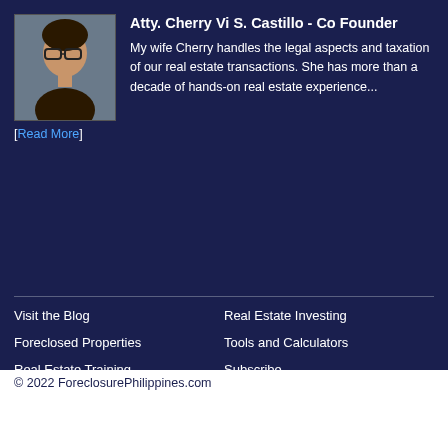Atty. Cherry Vi S. Castillo - Co Founder
My wife Cherry handles the legal aspects and taxation of our real estate transactions. She has more than a decade of hands-on real estate experience... [Read More]
Visit the Blog
Foreclosed Properties
Real Estate Training
Contact Us
Advertise
Youtube Channel
Real Estate Investing
Tools and Calculators
Subscribe
Topics:
[Figure (other): Select Category dropdown with green SHARE button]
© 2022 ForeclosurePhilippines.com